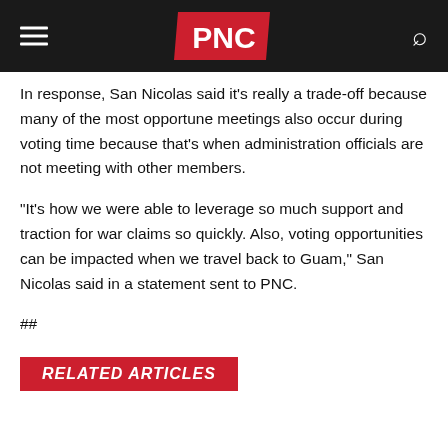PNC
In response, San Nicolas said it’s really a trade-off because many of the most opportune meetings also occur during voting time because that’s when administration officials are not meeting with other members.
“It’s how we were able to leverage so much support and traction for war claims so quickly. Also, voting opportunities can be impacted when we travel back to Guam,” San Nicolas said in a statement sent to PNC.
##
RELATED ARTICLES